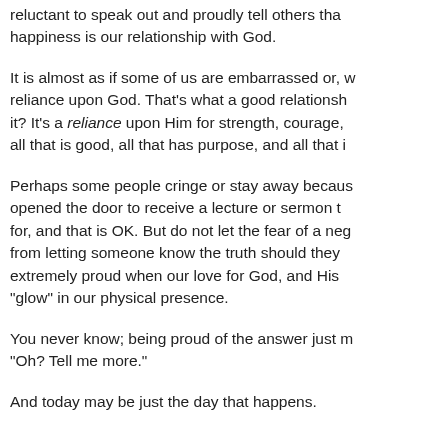reluctant to speak out and proudly tell others that our greatest happiness is our relationship with God.
It is almost as if some of us are embarrassed or, w... reliance upon God. That’s what a good relationship... it? It’s a reliance upon Him for strength, courage, ... all that is good, all that has purpose, and all that i...
Perhaps some people cringe or stay away becaus... opened the door to receive a lecture or sermon t... for, and that is OK. But do not let the fear of a neg... from letting someone know the truth should they... extremely proud when our love for God, and His... “glow” in our physical presence.
You never know; being proud of the answer just m... “Oh? Tell me more.”
And today may be just the day that happens.